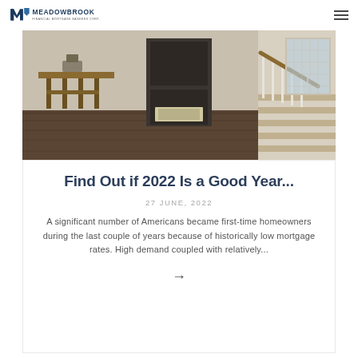MEADOWBROOK FINANCIAL MORTGAGE BANKERS CORP.
[Figure (photo): Interior hallway of an elegant home with hardwood floors, a console table with decor on the left, a dark front door in the center background, and a staircase with white balusters and a wooden handrail on the right.]
Find Out if 2022 Is a Good Year...
27 JUNE, 2022
A significant number of Americans became first-time homeowners during the last couple of years because of historically low mortgage rates. High demand coupled with relatively...